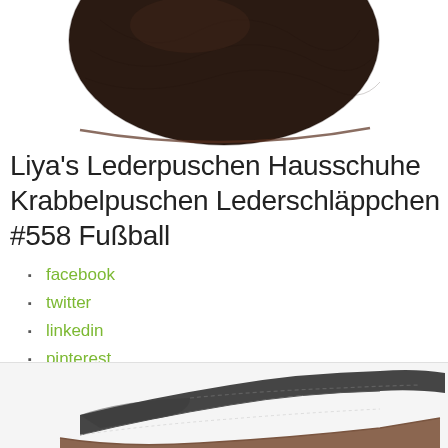[Figure (photo): Top-down or angled view of a dark brown textured leather shoe/slipper bottom, cropped at the top of the page]
Liya's Lederpuschen Hausschuhe Krabbelpuschen Lederschläppchen #558 Fußball
facebook
twitter
linkedin
pinterest
[Figure (photo): Side view of a dark grey/charcoal leather slipper with brown suede sole, photographed on white background]